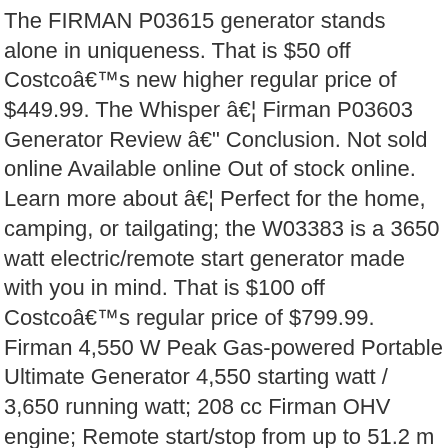The FIRMAN P03615 generator stands alone in uniqueness. That is $50 off Costcoâ€™s new higher regular price of $449.99. The Whisper â€¦ Firman P03603 Generator Review â€“ Conclusion. Not sold online Available online Out of stock online. Learn more about â€¦ Perfect for the home, camping, or tailgating; the W03383 is a 3650 watt electric/remote start generator made with you in mind. That is $100 off Costcoâ€™s regular price of $799.99. Firman 4,550 W Peak Gas-powered Portable Ultimate Generator 4,550 starting watt / 3,650 running watt; 208 cc Firman OHV engine; Remote start/stop from up to 51.2 m (168 ft.) Volt lock automatic voltage regulator adroll_products = [{"product_id":"271","price":"699.99","category":"hybrid series"}]; Available in English â€¢ Spanish â€¢ Français â€¢, 8350/6700 Watt 30A 120/240V Recoil Start Gas Portable Generator, 2000/1600 Watt Recoil Start Inverter